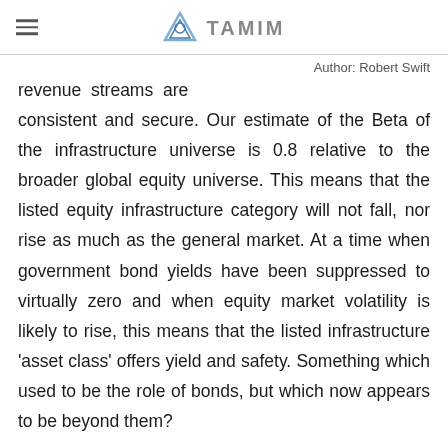TAMIM
Author: Robert Swift
revenue streams are consistent and secure. Our estimate of the Beta of the infrastructure universe is 0.8 relative to the broader global equity universe. This means that the listed equity infrastructure category will not fall, nor rise as much as the general market. At a time when government bond yields have been suppressed to virtually zero and when equity market volatility is likely to rise, this means that the listed infrastructure 'asset class' offers yield and safety. Something which used to be the role of bonds, but which now appears to be beyond them?